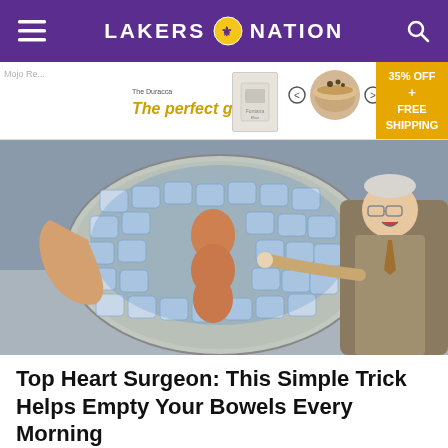LAKERS NATION
[Figure (infographic): Advertisement banner: 'The perfect gift' with food/gift product images, navigation arrows, and a gold box showing '35% OFF + FREE SHIPPING']
[Figure (photo): A person holding a round tray with ice packs and eggs, next to an older man in a suit pointing at it]
Top Heart Surgeon: This Simple Trick Helps Empty Your Bowels Every Morning
Gundry MD | Sponsored